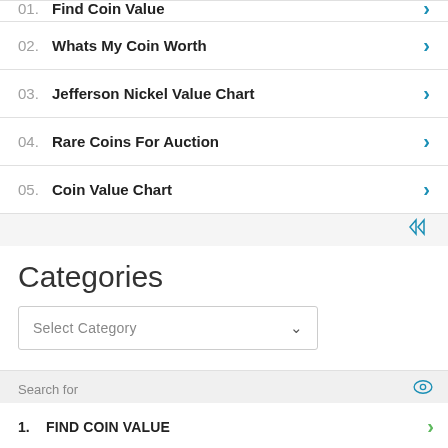02. Whats My Coin Worth
03. Jefferson Nickel Value Chart
04. Rare Coins For Auction
05. Coin Value Chart
Categories
Select Category
Search for
1. FIND COIN VALUE
2. WHATS MY COIN WORTH